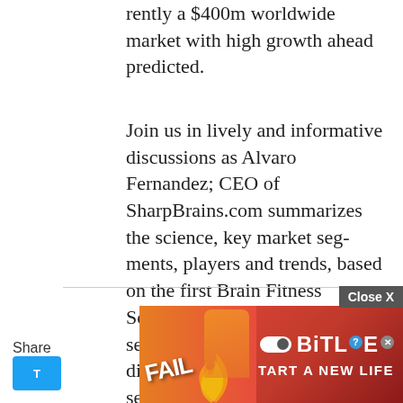rently a $400m worldwide market with high growth ahead predicted.
Join us in lively and informative discussions as Alvaro Fernandez; CEO of SharpBrains.com summarizes the science, key market segments, players and trends, based on the first Brain Fitness Software Market Report, presented in this event.  He will discuss the implications with several neuro-technology, gaming experts and investors."  Moderated by Zack Lynch, the speaker and panel will discuss:
[Read more…]
[Figure (screenshot): Advertisement banner for BitLife game showing 'FAIL' text, animated character, flames, BitLife logo with question and close icons, and 'START A NEW LIFE' tagline on red background. Close X button in top right corner. Share label and Twitter button visible on left side.]